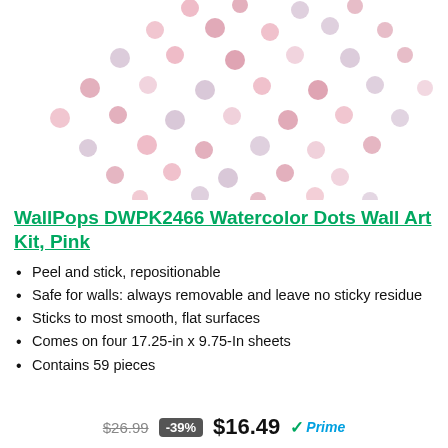[Figure (photo): Product image showing pink and mauve watercolor polka dots scattered across a white background, arranged in a flowing diagonal pattern]
WallPops DWPK2466 Watercolor Dots Wall Art Kit, Pink
Peel and stick, repositionable
Safe for walls: always removable and leave no sticky residue
Sticks to most smooth, flat surfaces
Comes on four 17.25-in x 9.75-In sheets
Contains 59 pieces
$26.99 -39% $16.49 Prime